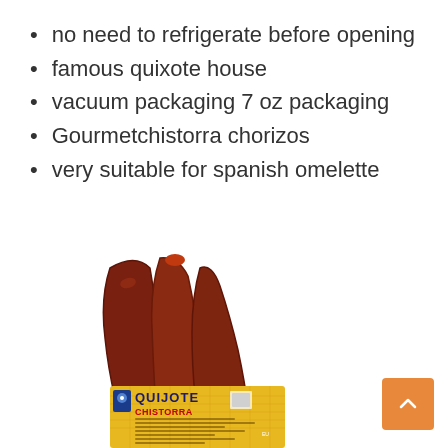no need to refrigerate before opening
famous quixote house
vacuum packaging 7 oz packaging
Gourmetchistorra chorizos
very suitable for spanish omelette
[Figure (photo): Quijote Chistorra chorizo sausage links in yellow vacuum packaging with the Quijote brand label]